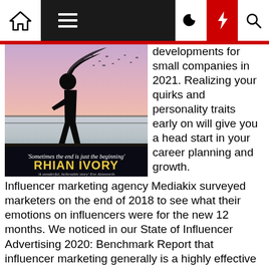Navigation bar with home, menu, dark mode, lightning/highlight, and search icons
[Figure (illustration): Book cover for 'Rhian Ivory' featuring a silhouette of a person with wind-blown hair against a pink/purple sky sunset. Text reads: 'Sometimes the end is just the beginning', 'RHIAN IVORY', 'A wonderful, believable story Eve Ainsworth']
developments for small companies in 2021. Realizing your quirks and personality traits early on will give you a head start in your career planning and growth. Influencer marketing agency Mediakix surveyed marketers on the end of 2018 to see what their emotions on influencers were for the new 12 months. We noticed in our State of Influencer Advertising 2020: Benchmark Report that influencer marketing generally is a highly effective means of